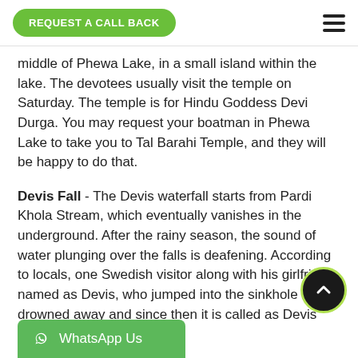REQUEST A CALL BACK
middle of Phewa Lake, in a small island within the lake. The devotees usually visit the temple on Saturday. The temple is for Hindu Goddess Devi Durga. You may request your boatman in Phewa Lake to take you to Tal Barahi Temple, and they will be happy to do that.
Devis Fall - The Devis waterfall starts from Pardi Khola Stream, which eventually vanishes in the underground. After the rainy season, the sound of water plunging over the falls is deafening. According to locals, one Swedish visitor along with his girlfriend named as Devis, who jumped into the sinkhole and drowned away and since then it is called as Devis Waterfall.